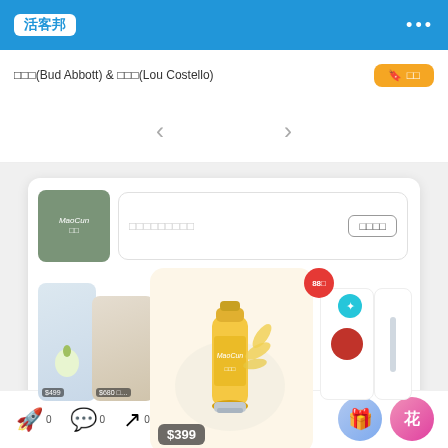活客邦
巴德(Bud Abbott) & 路克(Lou Costello)
[Figure (screenshot): E-commerce app card showing a skincare brand (MaoCun) with product carousel. Center product is a sunscreen tube priced at $399, with flanking products priced at $499 and $680. Badge overlays show 88 and star icons. Bottom right shows 'S' watermark.]
0 0 0